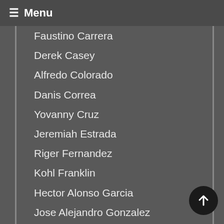☰ Menu
Faustino Carrera
Derek Casey
Alfredo Colorado
Danis Correa
Yovanny Cruz
Jeremiah Estrada
Riger Fernandez
Kohl Franklin
Hector Alonso Garcia
Jose Alejandro Gonzalez
Fauris Guerrero
Ben Hecht
Elias Herrera
Brendan King
Chi-Feng Lee
Brailyn Marquez
Junior Marte
Ivan Medina
Riley McCauley